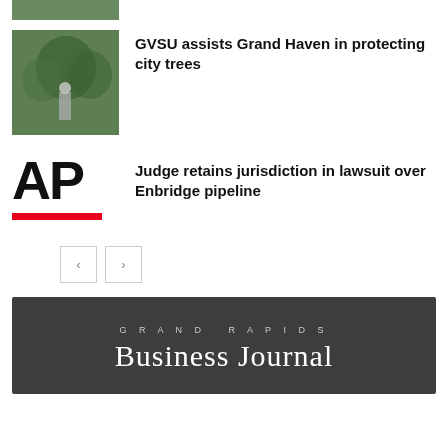[Figure (photo): Partial cropped photo at the top, showing greenery/trees]
[Figure (photo): Photo of a person standing among trees, outdoors]
GVSU assists Grand Haven in protecting city trees
[Figure (logo): Associated Press (AP) logo in bold black letters with red underbar]
Judge retains jurisdiction in lawsuit over Enbridge pipeline
[Figure (other): Navigation left and right arrow buttons]
[Figure (logo): Grand Rapids Business Journal logo on dark grey background]